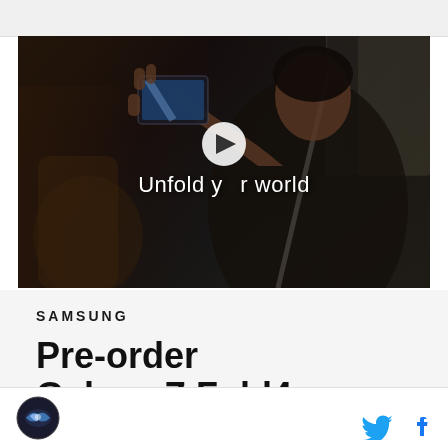[Figure (screenshot): Samsung advertisement video thumbnail showing a woman in a car holding a Samsung Galaxy Z Fold4 smartphone. Text overlay reads 'Unfold your world' with a play button in the center.]
SAMSUNG
Pre-order Galaxy Z Fold4
[Figure (logo): Circular logo with bird/falcon graphic on dark background, site branding icon]
[Figure (illustration): Twitter bird social media icon in blue]
[Figure (illustration): Facebook 'f' social media icon in blue]